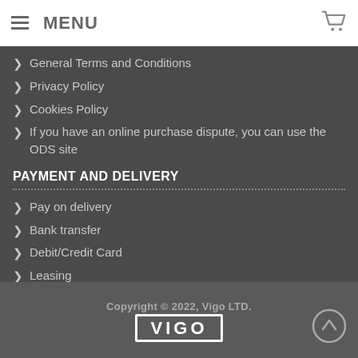MENU
General Terms and Conditions
Privacy Policy
Cookies Policy
If you have an online purchase dispute, you can use the ODS site
PAYMENT AND DELIVERY
Pay on delivery
Bank transfer
Debit/Credit Card
Leasing
Delivery whit courier
Copyright © 2022, Vigo LTD.